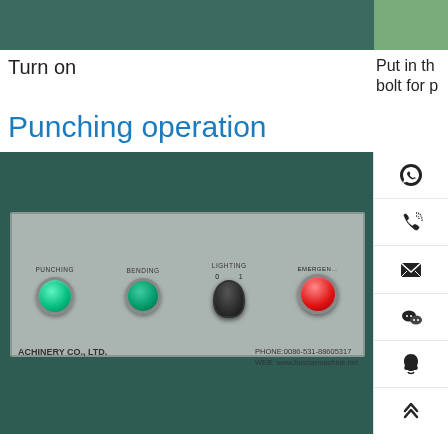[Figure (photo): Top portion of two photos side by side: left shows dark teal machine top, right shows partial green background]
Turn on
Put in the bolt for p
Punching operation
[Figure (photo): Control panel of busbar machine showing PUNCHING (green button), BENDING (green button), LIGHTING knob (0-1), EMERGENCY (red button), and company label: ACHINERY CO., LTD., PHONE:0086-531-88605317, WEB: www.busbarmachine.net]
[Figure (screenshot): Right sidebar with social/contact icons: WhatsApp, phone, email, WeChat, QQ, and up-arrow scroll button]